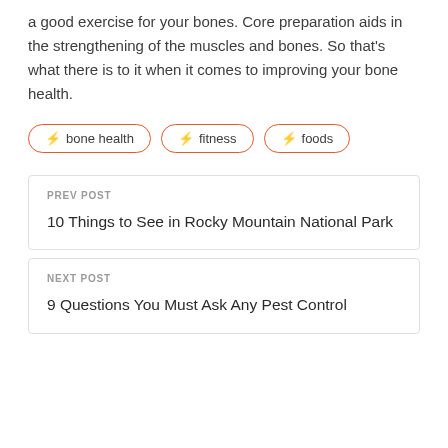a good exercise for your bones. Core preparation aids in the strengthening of the muscles and bones. So that's what there is to it when it comes to improving your bone health.
⚡ bone health
⚡ fitness
⚡ foods
PREV POST
10 Things to See in Rocky Mountain National Park
NEXT POST
9 Questions You Must Ask Any Pest Control